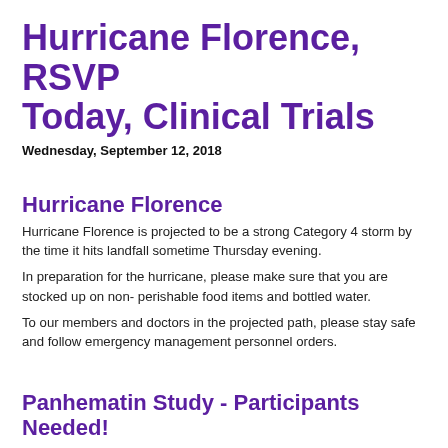Hurricane Florence, RSVP Today, Clinical Trials
Wednesday, September 12, 2018
Hurricane Florence
Hurricane Florence is projected to be a strong Category 4 storm by the time it hits landfall sometime Thursday evening.
In preparation for the hurricane, please make sure that you are stocked up on non- perishable food items and bottled water.
To our members and doctors in the projected path, please stay safe and follow emergency management personnel orders.
Panhematin Study - Participants Needed!
Do you have AIP, VP or HCP? Are you interested in participating in research? If so, we are recruiting volunteers for the Panhematin Study.